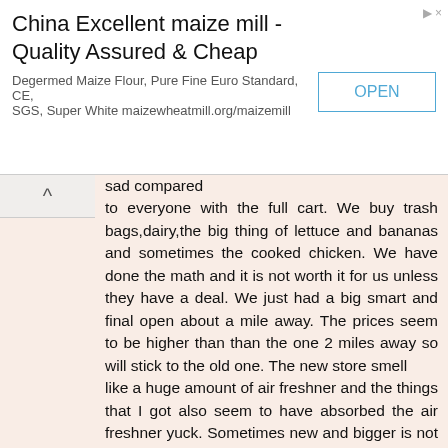[Figure (other): Advertisement banner for China Excellent maize mill with OPEN button]
sad compared to everyone with the full cart. We buy trash bags,dairy,the big thing of lettuce and bananas and sometimes the cooked chicken. We have done the math and it is not worth it for us unless they have a deal. We just had a big smart and final open about a mile away. The prices seem to be higher than than the one 2 miles away so will stick to the old one. The new store smell like a huge amount of air freshner and the things that I got also seem to have absorbed the air freshner yuck. Sometimes new and bigger is not better. Have a wonderful holiday weekend everyone.
Patti
Reply
Replies
Lili Mounce  May 31, 2016 at 9:29 AM